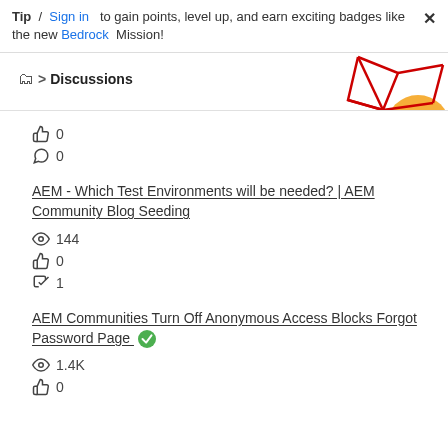Tip / Sign in to gain points, level up, and earn exciting badges like the new Bedrock Mission!
Discussions
[Figure (illustration): Decorative geometric red line art with orange circle shapes in top right corner]
👍 0
↩ 0
AEM - Which Test Environments will be needed? | AEM Community Blog Seeding
👁 144
👍 0
↩ 1
AEM Communities Turn Off Anonymous Access Blocks Forgot Password Page ✅
👁 1.4K
👍 0